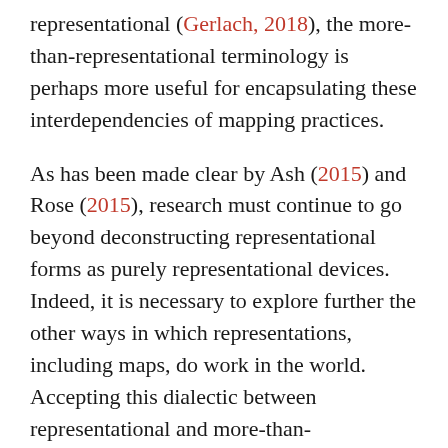representational (Gerlach, 2018), the more-than-representational terminology is perhaps more useful for encapsulating these interdependencies of mapping practices.
As has been made clear by Ash (2015) and Rose (2015), research must continue to go beyond deconstructing representational forms as purely representational devices. Indeed, it is necessary to explore further the other ways in which representations, including maps, do work in the world. Accepting this dialectic between representational and more-than-representational practice takes us away from an understanding of maps as immutable mobiles (maps as stable in form and function across different contexts; see Latour, 1986). Instead, this understanding asks us to question maps as mutable (unstable) mobiles, open to and constitutive of the multiple possibilities and affordances of